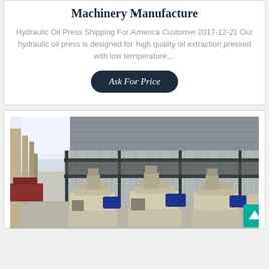Machinery Manufacture
Hydraulic Oil Press Shipping For America Customer 2017-12-21 Our hydraulic oil press is designed for high quality oil extraction pressed with low temperature,...
Ask For Price
[Figure (photo): Factory interior showing industrial oil press machines lined up on a concrete floor, with steel framework mezzanine and corrugated metal wall panels in the background. Three large oil press machines in cream/beige color with blue electric motors are visible in the foreground.]